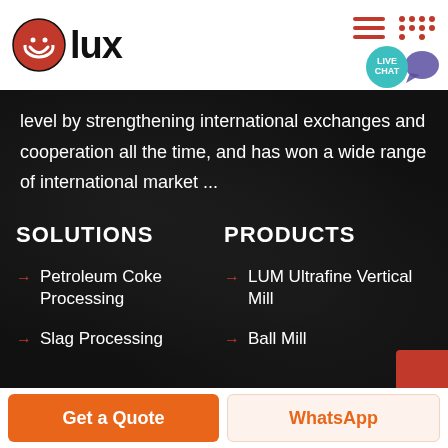[Figure (logo): Olux logo with red circle icon containing white smiley face, and bold black 'lux' text]
level by strengthening international exchanges and cooperation all the time, and has won a wide range of international market ...
SOLUTIONS
PRODUCTS
→ Petroleum Coke Processing
→ LUM Ultrafine Vertical Mill
→ Slag Processing
→ Ball Mill
Get a Quote   WhatsApp